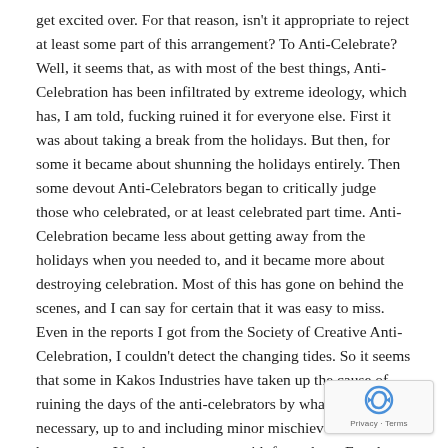get excited over. For that reason, isn't it appropriate to reject at least some part of this arrangement? To Anti-Celebrate? Well, it seems that, as with most of the best things, Anti-Celebration has been infiltrated by extreme ideology, which has, I am told, fucking ruined it for everyone else. First it was about taking a break from the holidays. But then, for some it became about shunning the holidays entirely. Then some devout Anti-Celebrators began to critically judge those who celebrated, or at least celebrated part time. Anti-Celebration became less about getting away from the holidays when you needed to, and it became more about destroying celebration. Most of this has gone on behind the scenes, and I can say for certain that it was easy to miss. Even in the reports I got from the Society of Creative Anti-Celebration, I couldn't detect the changing tides. So it seems that some in Kakos Industries have taken up the cause of ruining the days of the anti-celebrators by whatever means necessary, up to and including minor mischievous harassment. You know, toy guns with foam darts. Envelopes filled with fake snow. Being hit by large foam candy canes. So, in a sense, there is a war on Anti-Celebration. And they kind of deserve it. We'll try to get this resolved by next year.